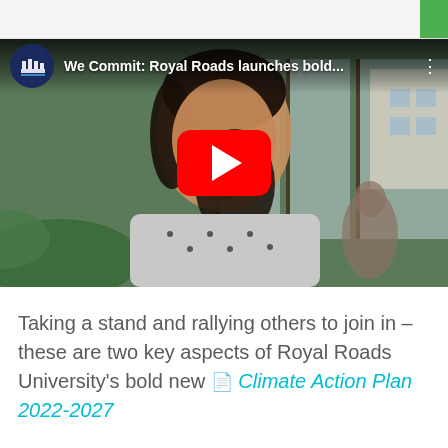[Figure (screenshot): YouTube video thumbnail showing a young woman in a patterned top seated indoors near large windows, with Royal Roads University logo and title 'We Commit: Royal Roads launches bold...' in the video header bar, and a red YouTube play button in the center.]
Taking a stand and rallying others to join in – these are two key aspects of Royal Roads University's bold new 📄 Climate Action Plan 2022-2027